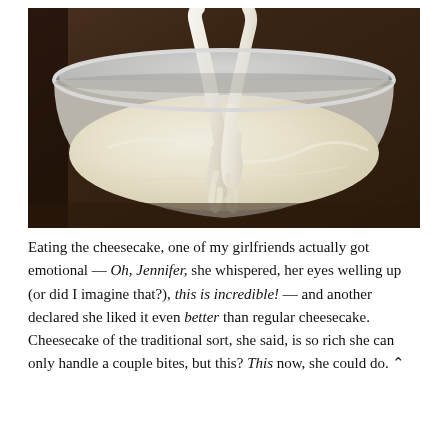[Figure (photo): Close-up photo of creamy white cheesecake batter being mixed in a large stainless steel bowl, with a mixer attachment lifting ribbons of the thick, pale yellow batter.]
Eating the cheesecake, one of my girlfriends actually got emotional — Oh, Jennifer, she whispered, her eyes welling up (or did I imagine that?), this is incredible! — and another declared she liked it even better than regular cheesecake. Cheesecake of the traditional sort, she said, is so rich she can only handle a couple bites, but this? This now, she could do.